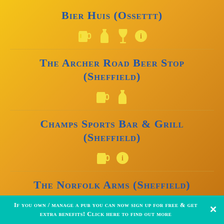Bier Huis (Ossettt)
[Figure (infographic): Icons: beer mug, bottle, wine glass, info circle - all in yellow]
The Archer Road Beer Stop (Sheffield)
[Figure (infographic): Icons: beer mug, bottle - all in yellow]
Champs Sports Bar & Grill (Sheffield)
[Figure (infographic): Icons: beer mug, info circle - in yellow]
The Norfolk Arms (Sheffield)
If you own / manage a pub you can now sign up for free & get extra benefits! Click here to find out more